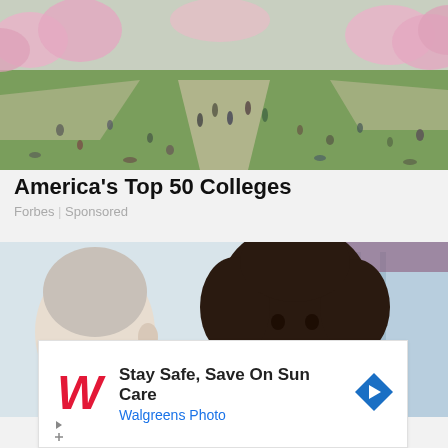[Figure (photo): Aerial view of a college campus quad with cherry blossom trees, students walking and relaxing on grass, pathways visible]
America's Top 50 Colleges
Forbes | Sponsored
[Figure (photo): A smiling female nurse in blue scrubs with stethoscope talking with an elderly patient]
[Figure (other): Walgreens advertisement: Stay Safe, Save On Sun Care - Walgreens Photo, with Walgreens W logo and navigation arrow icon]